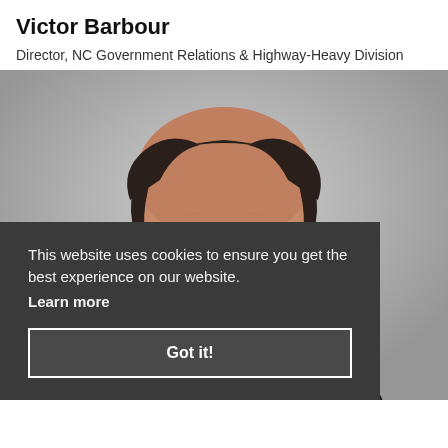Victor Barbour
Director, NC Government Relations & Highway-Heavy Division
[Figure (photo): Professional headshot photo of Victor Barbour, a man with dark short hair, partially bald on top, wearing a dark suit with tie, against a grey background. The photo is cropped showing head and upper torso.]
This website uses cookies to ensure you get the best experience on our website. Learn more
Got it!